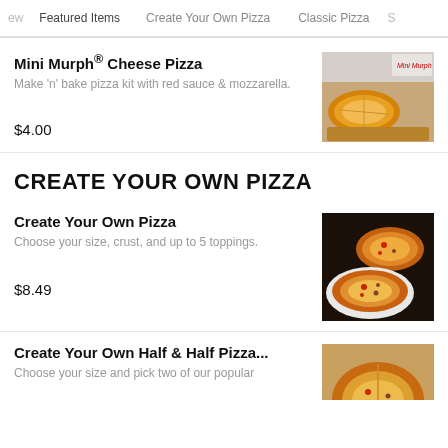ew  Featured Items    Create Your Own Pizza    Classic Pizza    S
Mini Murph® Cheese Pizza
Make 'n' bake pizza kit with red sauce & mozzarella.
$4.00
CREATE YOUR OWN PIZZA
Create Your Own Pizza
Choose your size, crust, and up to 5 toppings.
$8.49
Create Your Own Half & Half Pizza...
Choose your size and pick two of our popular